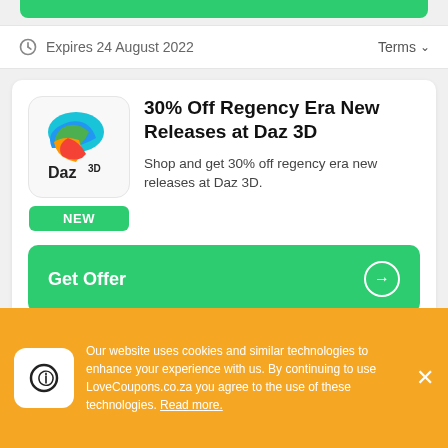Expires 24 August 2022    Terms
30% Off Regency Era New Releases at Daz 3D
Shop and get 30% off regency era new releases at Daz 3D.
NEW
Get Offer
Expires 24 August 2022    Terms
Our website uses cookies and similar technologies to enhance your experience with us. By continuing to use LoveCoupons.co.za you agree to the use of these technologies. Read more.